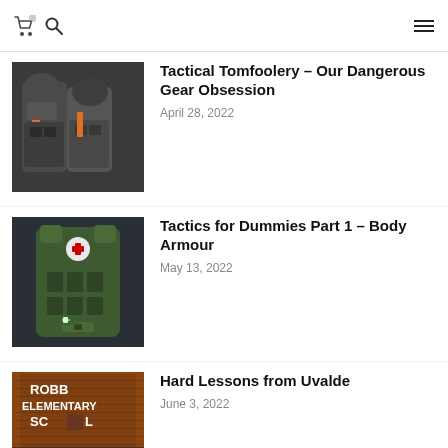Shopping cart icon, search icon, hamburger menu
[Figure (photo): Two people wearing tactical gear and military-style vests with orange accents, dark background]
Tactical Tomfoolery – Our Dangerous Gear Obsession
April 28, 2022
[Figure (photo): Green tactical plate carrier / body armor vest on dark background]
Tactics for Dummies Part 1 – Body Armour
May 13, 2022
[Figure (photo): Robb Elementary School sign with memorial flowers and tributes]
Hard Lessons from Uvalde
June 3, 2022